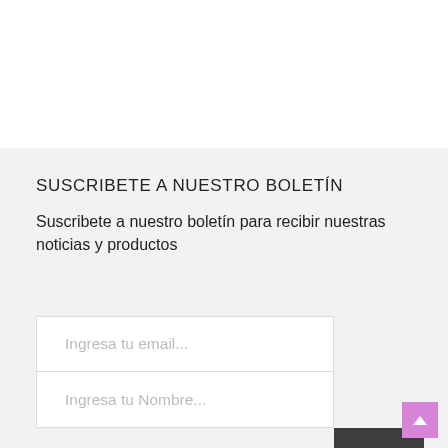SUSCRIBETE A NUESTRO BOLETÍN
Suscribete a nuestro boletín para recibir nuestras noticias y productos